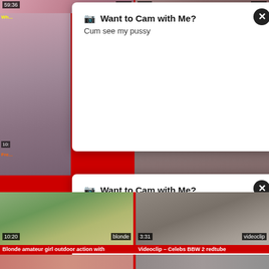[Figure (screenshot): Adult video thumbnail grid with overlay popup ads. Top row shows two video thumbnails with time codes 59:36 (tagged 'hoes') and 8:00 (tagged 'mom'). Second row shows partial thumbnails with two white popup overlay ads reading 'Want to Cam with Me? Cum see my pussy' with close buttons. Third partial row shows thumbnails with time code 10: and tag partial and 'Fre...' label. Fourth row shows two video thumbnails: 'Blonde amateur girl outdoor action with' (10:20, tagged 'blonde') and 'Videoclip - Celebs BBW 2 redtube' (3:31, tagged 'videoclip'). Bottom partial row shows two more thumbnails.]